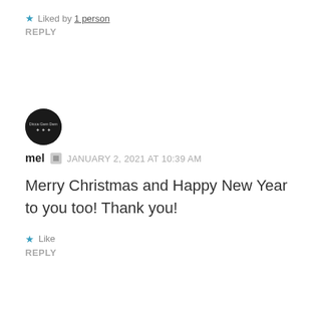★ Liked by 1 person
REPLY
[Figure (logo): Round black avatar/logo for user 'mel' with small white text inside]
mel  JANUARY 2, 2021 AT 10:39 AM
Merry Christmas and Happy New Year to you too! Thank you!
★ Like
REPLY